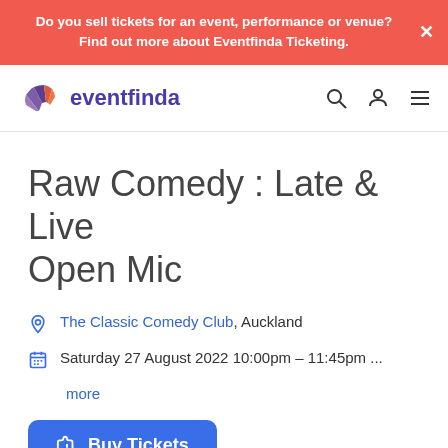Do you sell tickets for an event, performance or venue? Find out more about Eventfinda Ticketing.
[Figure (logo): Eventfinda logo with fan icon and search, user, menu icons in navigation bar]
Raw Comedy : Late & Live Open Mic
The Classic Comedy Club, Auckland
Saturday 27 August 2022 10:00pm – 11:45pm ... more
Buy Tickets